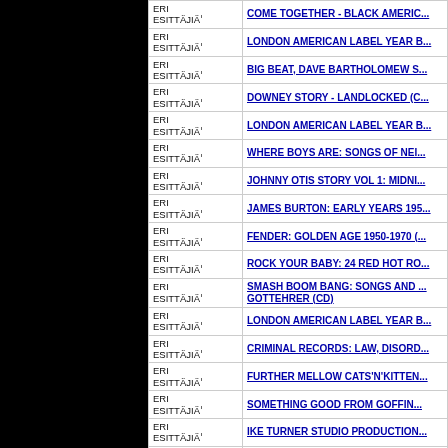| ESITTÄJÄ | TITLE |
| --- | --- |
| ERI ESITTÄJIÄ | COME TOGETHER - BLACK AMERIC... |
| ERI ESITTÄJIÄ | LONDON AMERICAN LABEL YEAR B... |
| ERI ESITTÄJIÄ | BIG BEAT, DAVE BARTHOLOMEW S... |
| ERI ESITTÄJIÄ | DOWNEY STORY - LANDLOCKED (C... |
| ERI ESITTÄJIÄ | LONDON AMERICAN LABEL YEAR B... |
| ERI ESITTÄJIÄ | WHERE BOYS ARE: SONGS OF NEI... |
| ERI ESITTÄJIÄ | JOHNNY OTIS STORY VOL 1: MIDNI... |
| ERI ESITTÄJIÄ | JAMES BURTON: EARLY YEARS 195... |
| ERI ESITTÄJIÄ | FENDER: GOLDEN AGE 1950-1970 (... |
| ERI ESITTÄJIÄ | ROCK YOUR BABY: 24 RED HOT RO... |
| ERI ESITTÄJIÄ | SMASH BOOM BANG: SONGS AND ... GOTTEHRER (CD) |
| ERI ESITTÄJIÄ | LONDON AMERICAN LABEL YEAR B... |
| ERI ESITTÄJIÄ | CRIMINAL RECORDS: LAW, DISORD... |
| ERI ESITTÄJIÄ | FURTHER MELLOW CATS'N'KITTEN... |
| ERI ESITTÄJIÄ | SOMETHING GOOD FROM GOFFIN... |
| ERI ESITTÄJIÄ | IKE TURNER STUDIO PRODUCTION... |
| ERI ESITTÄJIÄ | MEMPHIS BOYS: STORY OF AMERI... |
| ERI ESITTÄJIÄ | ELVIS HEARD THEM HERE FIRST (C... |